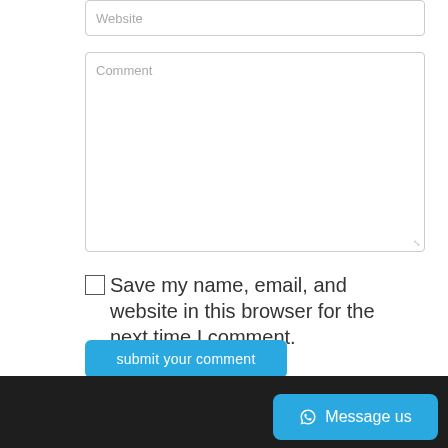[Figure (screenshot): Website input field with placeholder text 'Website', partially visible at top of page]
[Figure (screenshot): Comment textarea with placeholder text 'Comment' and resize handle]
Save my name, email, and website in this browser for the next time I comment.
submit your comment
Message us
Message us